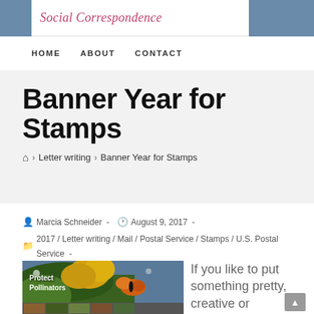Social Correspondence
HOME   ABOUT   CONTACT
Banner Year for Stamps
Home > Letter writing > Banner Year for Stamps
Marcia Schneider  -  August 9, 2017  -  2017 / Letter writing / Mail / Postal Service / Stamps / U.S. Postal Service  -  4 Comments
[Figure (photo): Protect Pollinators stamp image showing a monarch butterfly on yellow goldenrod flowers with small stamp thumbnails at the bottom]
If you like to put something pretty, creative or